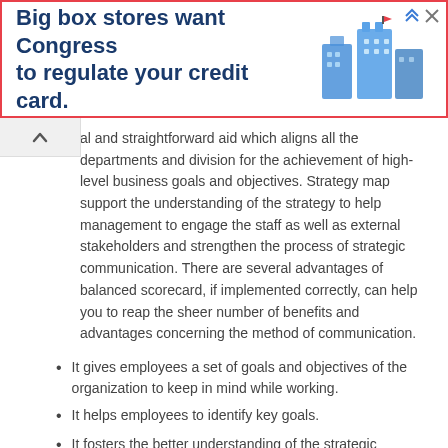[Figure (screenshot): Advertisement banner: 'Big box stores want Congress to regulate your credit card.' with blue building illustration and orange/red border.]
al and straightforward aid which aligns all the departments and division for the achievement of high-level business goals and objectives. Strategy map support the understanding of the strategy to help management to engage the staff as well as external stakeholders and strengthen the process of strategic communication. There are several advantages of balanced scorecard, if implemented correctly, can help you to reap the sheer number of benefits and advantages concerning the method of communication.
It gives employees a set of goals and objectives of the organization to keep in mind while working.
It helps employees to identify key goals.
It fosters the better understanding of the strategic elements that need work.
It enables employees to see overlapping influence of objectives.
It Aligns Your Departments and Divisions